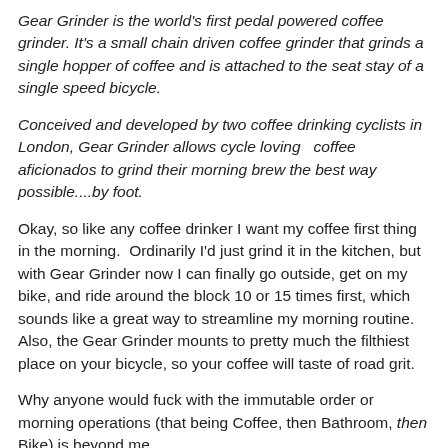Gear Grinder is the world's first pedal powered coffee grinder. It's a small chain driven coffee grinder that grinds a single hopper of coffee and is attached to the seat stay of a single speed bicycle.
Conceived and developed by two coffee drinking cyclists in London, Gear Grinder allows cycle loving  coffee aficionados to grind their morning brew the best way possible....by foot.
Okay, so like any coffee drinker I want my coffee first thing in the morning.  Ordinarily I'd just grind it in the kitchen, but with Gear Grinder now I can finally go outside, get on my bike, and ride around the block 10 or 15 times first, which sounds like a great way to streamline my morning routine.  Also, the Gear Grinder mounts to pretty much the filthiest place on your bicycle, so your coffee will taste of road grit.
Why anyone would fuck with the immutable order or morning operations (that being Coffee, then Bathroom, then Bike) is beyond me.
Or maybe this is a harbinger of something even more